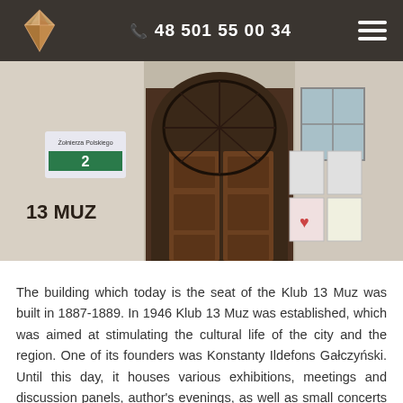48 501 55 00 34
[Figure (photo): Exterior photo of Klub 13 Muz building entrance, showing an arched wooden double door with ornate ironwork, a street address sign showing number 2, and the text '13 MUZ' painted on the building facade. Posters visible on the right side.]
The building which today is the seat of the Klub 13 Muz was built in 1887-1889. In 1946 Klub 13 Muz was established, which was aimed at stimulating the cultural life of the city and the region. One of its founders was Konstanty Ildefons Gałczyński. Until this day, it houses various exhibitions, meetings and discussion panels, author's evenings, as well as small concerts and projections of films or documentaries important for the city and culture.